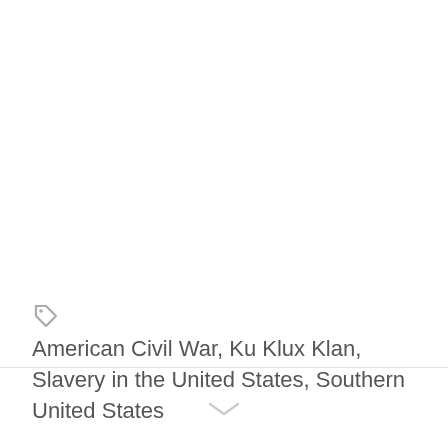🏷 American Civil War, Ku Klux Klan, Slavery in the United States, Southern United States